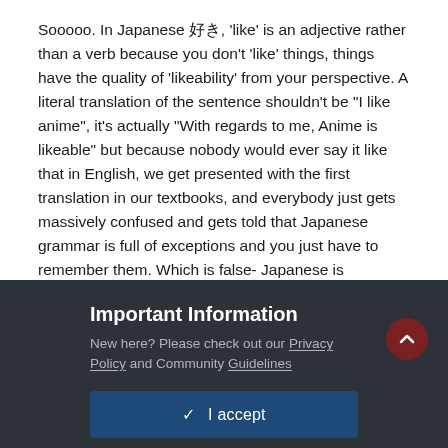Sooooo. In Japanese 好き, 'like' is an adjective rather than a verb because you don't 'like' things, things have the quality of 'likeability' from your perspective. A literal translation of the sentence shouldn't be "I like anime", it's actually "With regards to me, Anime is likeable" but because nobody would ever say it like that in English, we get presented with the first translation in our textbooks, and everybody just gets massively confused and gets told that Japanese grammar is full of exceptions and you just have to remember them. Which is false- Japanese is delightfully logical and consistent when you start approaching it from a non-English Grammar perspective, definitely more so than English!
Anyway, that's probably a way more in-depth response to what you were expecting!
Important Information
New here? Please check out our Privacy Policy and Community Guidelines